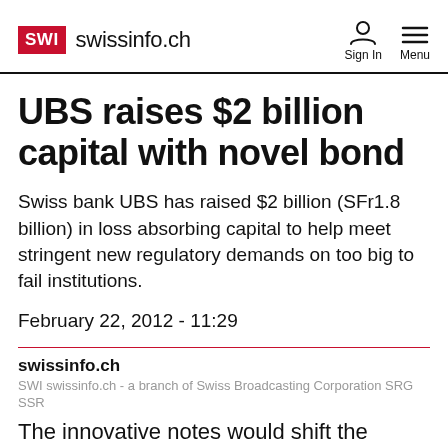SWI swissinfo.ch
UBS raises $2 billion capital with novel bond
Swiss bank UBS has raised $2 billion (SFr1.8 billion) in loss absorbing capital to help meet stringent new regulatory demands on too big to fail institutions.
February 22, 2012 - 11:29
swissinfo.ch
SWI swissinfo.ch - a branch of Swiss Broadcasting Corporation SRG SSR
The innovative notes would shift the burden of